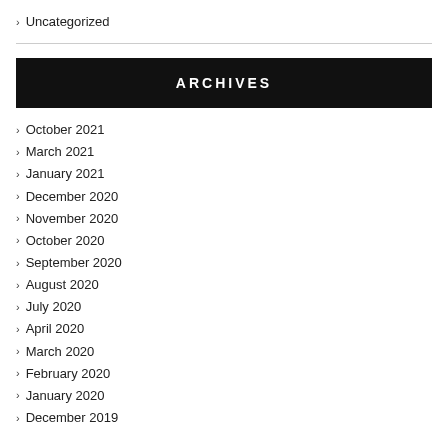Uncategorized
ARCHIVES
October 2021
March 2021
January 2021
December 2020
November 2020
October 2020
September 2020
August 2020
July 2020
April 2020
March 2020
February 2020
January 2020
December 2019